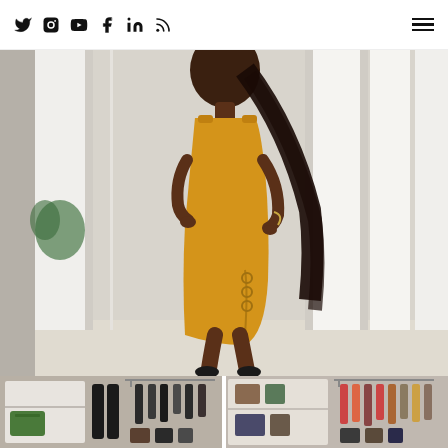Social media navigation bar with Twitter, Instagram, YouTube, Facebook, LinkedIn, RSS icons and hamburger menu
[Figure (photo): A woman wearing a mustard/yellow form-fitting midi dress with a side slit and ring details, standing in front of white pillars outdoors]
[Figure (photo): Two side-by-side photos of a clothing closet/wardrobe showing clothes on hangers and shelves with bags and accessories]